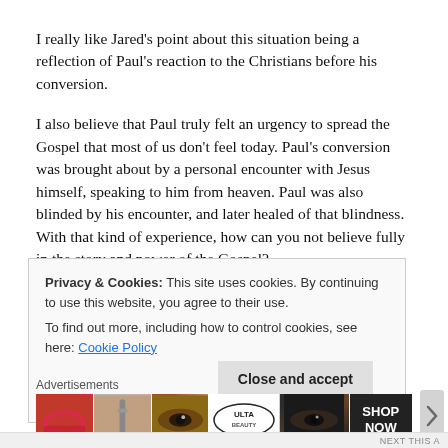I really like Jared's point about this situation being a reflection of Paul's reaction to the Christians before his conversion.
I also believe that Paul truly felt an urgency to spread the Gospel that most of us don't feel today. Paul's conversion was brought about by a personal encounter with Jesus himself, speaking to him from heaven. Paul was also blinded by his encounter, and later healed of that blindness. With that kind of experience, how can you not believe fully in the story and power of the Gospel?
If we today felt the urgency, and believed the Gospel as deeply as
Privacy & Cookies: This site uses cookies. By continuing to use this website, you agree to their use.
To find out more, including how to control cookies, see here: Cookie Policy
Close and accept
Advertisements
[Figure (photo): ULTA beauty advertisement banner with makeup imagery including lips, brush, eyes, and SHOP NOW text]
NEXT THIS A